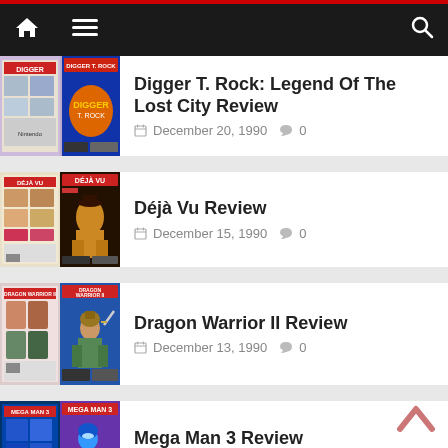Navigation bar with home, menu, and search icons
[Figure (screenshot): Game box art for Digger T. Rock: Legend Of The Lost City]
Digger T. Rock: Legend Of The Lost City Review
December 20, 1990  0
[Figure (screenshot): Game box art for Déjà Vu Review]
Déjà Vu Review
December 15, 1990  0
[Figure (screenshot): Game box art for Dragon Warrior II Review]
Dragon Warrior II Review
December 13, 1990  0
[Figure (screenshot): Game box art for Mega Man 3 Review]
Mega Man 3 Review
November 30, 1990  0